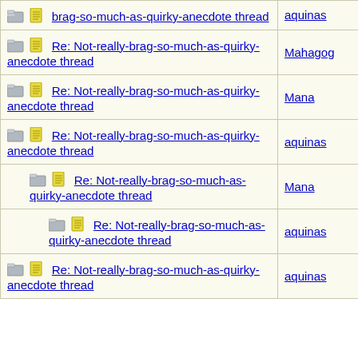| Thread | Author |
| --- | --- |
| brag-so-much-as-quirky-anecdote thread | aquinas |
| Re: Not-really-brag-so-much-as-quirky-anecdote thread | Mahagog |
| Re: Not-really-brag-so-much-as-quirky-anecdote thread | Mana |
| Re: Not-really-brag-so-much-as-quirky-anecdote thread | aquinas |
| Re: Not-really-brag-so-much-as-quirky-anecdote thread | Mana |
| Re: Not-really-brag-so-much-as-quirky-anecdote thread | aquinas |
| Re: Not-really-brag-so-much-as-quirky-anecdote thread | aquinas |